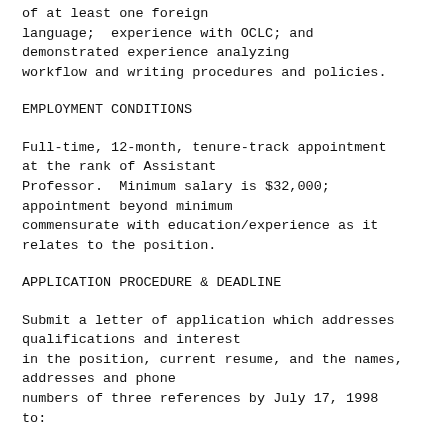of at least one foreign language;  experience with OCLC; and demonstrated experience analyzing workflow and writing procedures and policies.
EMPLOYMENT CONDITIONS
Full-time, 12-month, tenure-track appointment at the rank of Assistant Professor.  Minimum salary is $32,000; appointment beyond minimum commensurate with education/experience as it relates to the position.
APPLICATION PROCEDURE & DEADLINE
Submit a letter of application which addresses qualifications and interest in the position, current resume, and the names, addresses and phone numbers of three references by July 17, 1998 to: